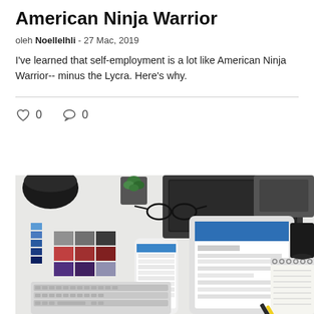American Ninja Warrior
oleh Noellelhli - 27 Mac, 2019
I've learned that self-employment is a lot like American Ninja Warrior-- minus the Lycra. Here's why.
[Figure (other): Heart icon with count 0 and speech bubble icon with count 0 (likes and comments)]
[Figure (photo): Overhead flat-lay photo of a designer's desk with a monitor, keyboard, tablet, smartphone, color swatches, glasses, plant, notebook, and pen on a white surface.]